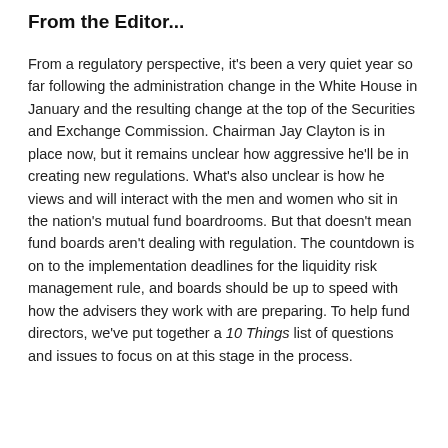From the Editor...
From a regulatory perspective, it's been a very quiet year so far following the administration change in the White House in January and the resulting change at the top of the Securities and Exchange Commission. Chairman Jay Clayton is in place now, but it remains unclear how aggressive he'll be in creating new regulations. What's also unclear is how he views and will interact with the men and women who sit in the nation's mutual fund boardrooms. But that doesn't mean fund boards aren't dealing with regulation. The countdown is on to the implementation deadlines for the liquidity risk management rule, and boards should be up to speed with how the advisers they work with are preparing. To help fund directors, we've put together a 10 Things list of questions and issues to focus on at this stage in the process.